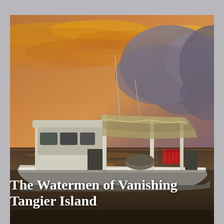[Figure (photo): A fishing boat with a canopy/awning docked on water at sunset. The boat is white with a covered cabin on the left side and a large open deck covered by a tattered canvas awning. A red basket and equipment are visible on deck. The sky features dramatic orange and yellow clouds at dusk, with dark storm clouds building on the right. The water reflects warm golden light.]
The Watermen of Vanishing Tangier Island